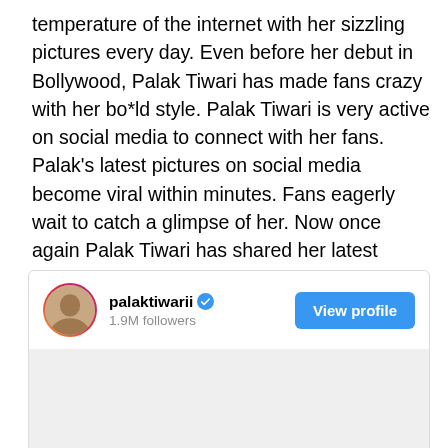temperature of the internet with her sizzling pictures every day. Even before her debut in Bollywood, Palak Tiwari has made fans crazy with her bo*ld style. Palak Tiwari is very active on social media to connect with her fans. Palak's latest pictures on social media become viral within minutes. Fans eagerly wait to catch a glimpse of her. Now once again Palak Tiwari has shared her latest pictures. Which is creating panic on social media. Palak Tiwari is looking very cute in these pictures.
[Figure (screenshot): Instagram profile embed for palaktiwarii with 1.9M followers, verified badge, View profile button, and a gray image area below]